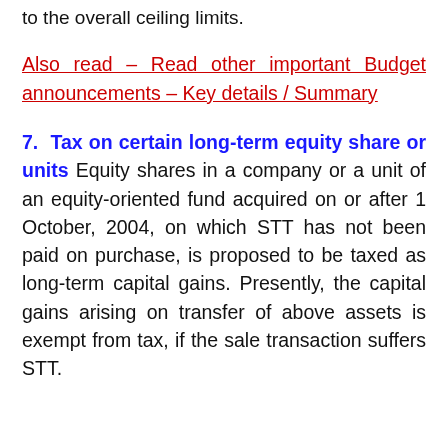to the overall ceiling limits.
Also read – Read other important Budget announcements – Key details / Summary
7. Tax on certain long-term equity share or units
Equity shares in a company or a unit of an equity-oriented fund acquired on or after 1 October, 2004, on which STT has not been paid on purchase, is proposed to be taxed as long-term capital gains. Presently, the capital gains arising on transfer of above assets is exempt from tax, if the sale transaction suffers STT.